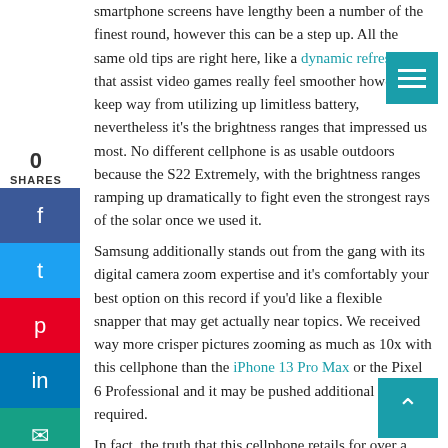smartphone screens have lengthy been a number of the finest round, however this can be a step up. All the same old tips are right here, like a dynamic refresh rate that assist video games really feel smoother however keep way from utilizing up limitless battery, nevertheless it's the brightness ranges that impressed us most. No different cellphone is as usable outdoors because the S22 Extremely, with the brightness ranges ramping up dramatically to fight even the strongest rays of the solar once we used it.
Samsung additionally stands out from the gang with its digital camera zoom expertise and it's comfortably your best option on this record if you'd like a flexible snapper that may get actually near topics. We received way more crisper pictures zooming as much as 10x with this cellphone than the iPhone 13 Pro Max or the Pixel 6 Professional and it may be pushed additional when required.
In fact, the truth that this cellphone retails for over a